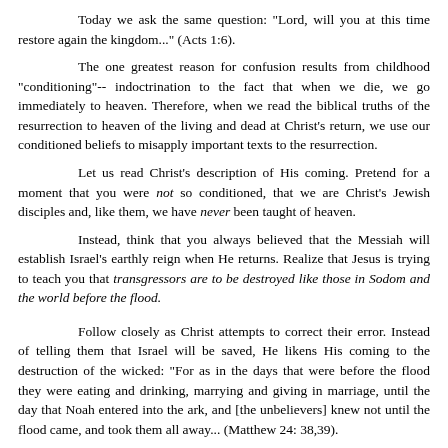Today we ask the same question: "Lord, will you at this time restore again the kingdom..." (Acts 1:6). The one greatest reason for confusion results from childhood "conditioning"-- indoctrination to the fact that when we die, we go immediately to heaven. Therefore, when we read the biblical truths of the resurrection to heaven of the living and dead at Christ's return, we use our conditioned beliefs to misapply important texts to the resurrection.
Let us read Christ's description of His coming. Pretend for a moment that you were not so conditioned, that we are Christ's Jewish disciples and, like them, we have never been taught of heaven.
Instead, think that you always believed that the Messiah will establish Israel's earthly reign when He returns. Realize that Jesus is trying to teach you that transgressors are to be destroyed like those in Sodom and the world before the flood.
Follow closely as Christ attempts to correct their error. Instead of telling them that Israel will be saved, He likens His coming to the destruction of the wicked: "For as in the days that were before the flood they were eating and drinking, marrying and giving in marriage, until the day that Noah entered into the ark, and [the unbelievers] knew not until the flood came, and took them all away... (Matthew 24: 38,39).